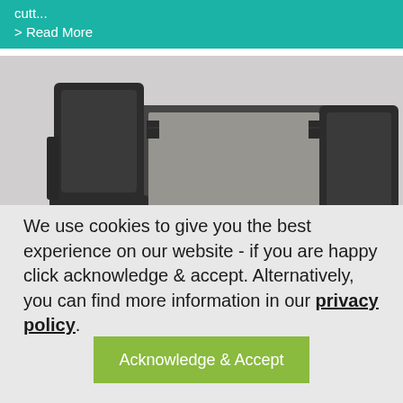cutt...
> Read More
[Figure (photo): Dark wicker/rattan outdoor patio furniture set with a square glass-top table and two chairs, photographed against a light background]
We use cookies to give you the best experience on our website - if you are happy click acknowledge & accept. Alternatively, you can find more information in our privacy policy.
Acknowledge & Accept